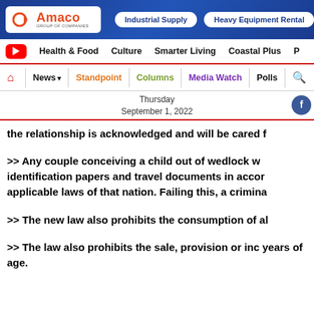[Figure (logo): Amaco Group of Companies logo with navigation banner including Industrial Supply and Heavy Equipment Rental buttons]
Health & Food   Culture   Smarter Living   Coastal Plus   P
News ▾  |  Standpoint  |  Columns  |  Media Watch  |  Polls  |  🔍
Thursday
September 1, 2022
the relationship is acknowledged and will be cared f
>> Any couple conceiving a child out of wedlock w identification papers and travel documents in accor applicable laws of that nation. Failing this, a crimina
>> The new law also prohibits the consumption of al
>> The law also prohibits the sale, provision or inc years of age.